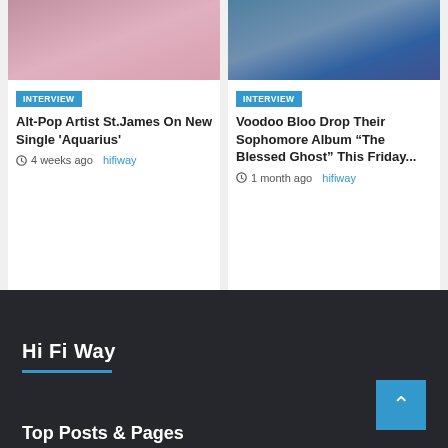[Figure (photo): Cropped photo of a person in pink/rose outfit, upper body visible, partial text at top]
INTERVIEW
Alt-Pop Artist St.James On New Single 'Aquarius'
4 weeks ago  hifiway
[Figure (photo): Cropped photo of people seated, legs and feet visible, blue jeans and dark shoes]
INTERVIEW
Voodoo Bloo Drop Their Sophomore Album “The Blessed Ghost” This Friday...
1 month ago  hifiway
Hi Fi Way
Top Posts & Pages